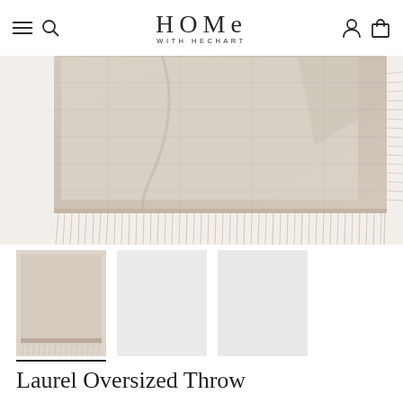HOME WITH HECHART
[Figure (photo): Close-up photo of a folded beige/natural linen oversized throw blanket with fringe edges, shown on a white background.]
[Figure (photo): Three thumbnail images of the Laurel Oversized Throw: first thumbnail shows the beige throw (selected, with underline indicator), second and third thumbnails are light grey placeholder images.]
Laurel Oversized Throw